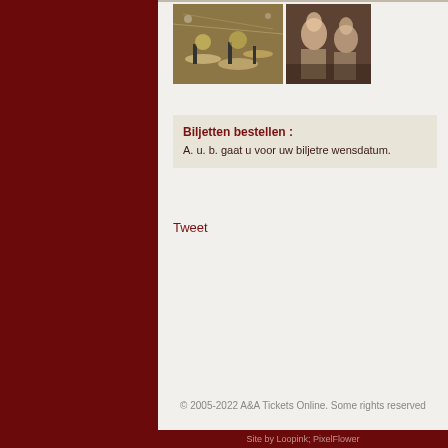[Figure (photo): Two photos side by side: left shows a concert/drum kit scene with stage lighting, right shows two people in conversation at what appears to be a bar or event.]
Biljetten bestellen : A. u. b. gaat u voor uw biljetre wensdatum.
Tweet
© 2005-2022 A&A Tickets Online. Some rights reserved
Site by Loopink; PixelFlower